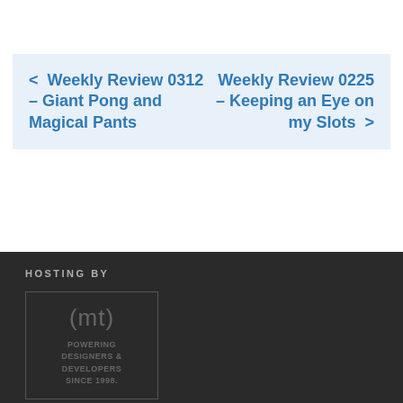< Weekly Review 0312 – Giant Pong and Magical Pants
Weekly Review 0225 – Keeping an Eye on my Slots >
HOSTING BY
[Figure (logo): (mt) Media Temple logo with text: POWERING DESIGNERS & DEVELOPERS SINCE 1998.]
COLOPHON